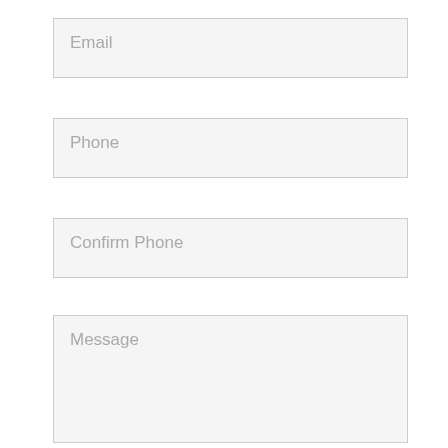Email
Phone
Confirm Phone
Message